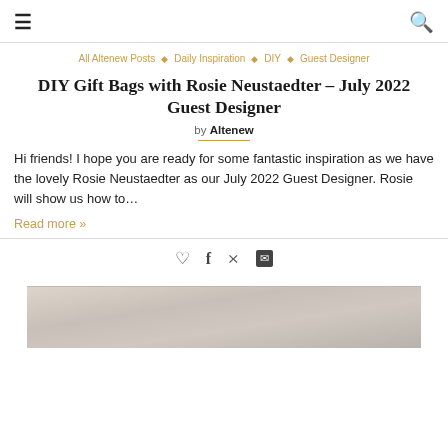≡ [hamburger menu] | [search icon]
All Altenew Posts ◇ Daily Inspiration ◇ DIY ◇ Guest Designer
DIY Gift Bags with Rosie Neustaedter – July 2022 Guest Designer
by Altenew
Hi friends! I hope you are ready for some fantastic inspiration as we have the lovely Rosie Neustaedter as our July 2022 Guest Designer. Rosie will show us how to…
Read more »
[Figure (photo): Bottom portion of a photo showing a whitewashed wooden surface or background]